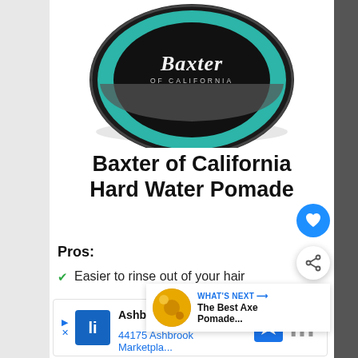[Figure (photo): Baxter of California hair pomade tin viewed from above, showing teal/black circular lid with brand logo]
Baxter of California Hard Water Pomade
Pros:
Easier to rinse out of your hair
Stays soft to the touch
Creamier texture makes the mixture easier to apply